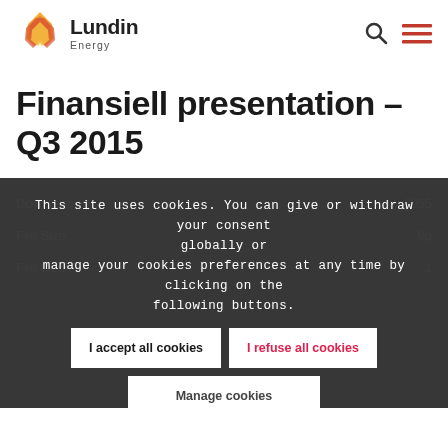[Figure (logo): Lundin Energy logo with flame graphic and text 'Lundin Energy']
Finansiell presentation – Q3 2015
This site uses cookies. You can give or withdraw your consent globally or manage your cookies preferences at any time by clicking on the following buttons.
Download	2055
File Size	9g
File Count	1